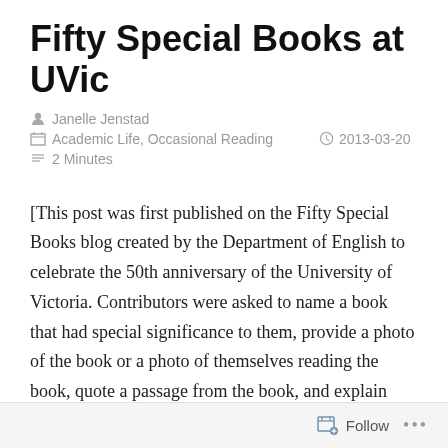Fifty Special Books at UVic
Janelle Jenstad
Academic Life, Occasional Reading   2013-03-20
2 Minutes
[This post was first published on the Fifty Special Books blog created by the Department of English to celebrate the 50th anniversary of the University of Victoria. Contributors were asked to name a book that had special significance to them, provide a photo of the book or a photo of themselves reading the book, quote a passage from the book, and explain why it was
Follow ...